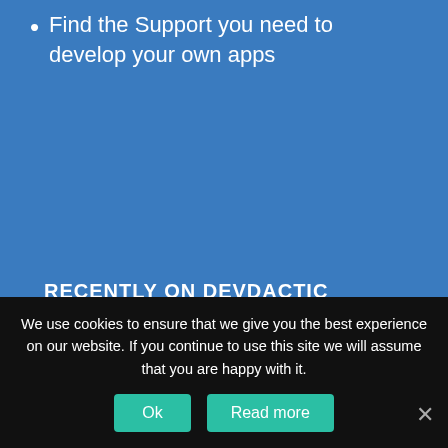Find the Support you need to develop your own apps
[Figure (other): Yellow call-to-action button with text CLICK HERE TO FIND OUT MORE]
RECENTLY ON DEVDACTIC
[Figure (screenshot): Partial thumbnail image showing a red block and Angular shield logo on a dark/grey background]
We use cookies to ensure that we give you the best experience on our website. If you continue to use this site we will assume that you are happy with it.
Ok   Read more